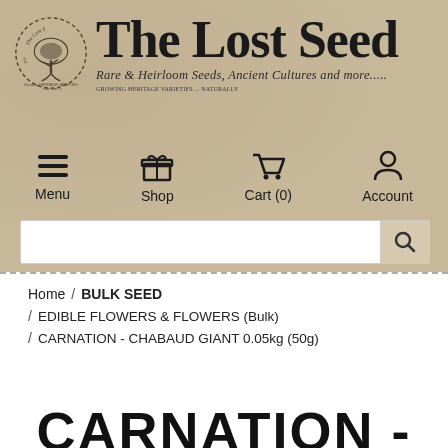[Figure (logo): The Lost Seed logo with circular tree illustration and text: 'The Lost Seed - Rare & Heirloom Seeds, Ancient Cultures and more.....']
Menu | Shop | Cart (0) | Account
Home / BULK SEED / EDIBLE FLOWERS & FLOWERS (Bulk) / CARNATION - CHABAUD GIANT 0.05kg (50g)
CARNATION - CHABAUD